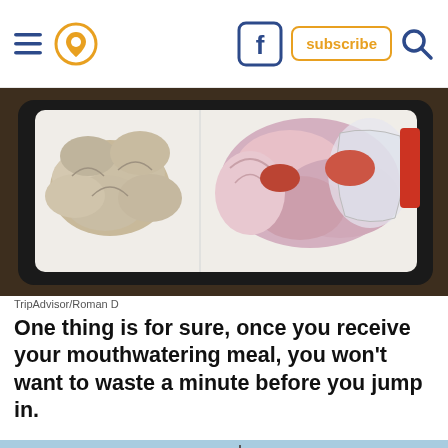Navigation bar with hamburger menu, location pin icon, Facebook icon, subscribe button, search icon
[Figure (photo): Overhead shot of a white styrofoam tray filled with fresh clams and seafood including an onion and a small plastic bag, set on a dark metal grill surface on a wooden table.]
TripAdvisor/Roman D
One thing is for sure, once you receive your mouthwatering meal, you won't want to waste a minute before you jump in.
[Figure (photo): Harbor dining scene with people seated at outdoor tables looking out at boats and water, with colorful pennant flags strung overhead. An advertisement strip overlays the lower portion showing decorative items and a Tiny Land logo.]